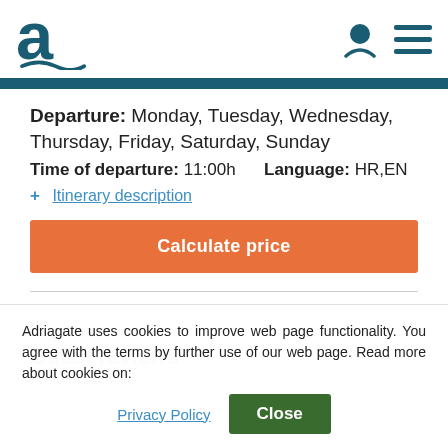Adriagate logo and navigation icons
Departure: Monday, Tuesday, Wednesday, Thursday, Friday, Saturday, Sunday
Time of departure: 11:00h     Language: HR,EN
+ Itinerary description
Calculate price
Guest reviews
Adriagate uses cookies to improve web page functionality. You agree with the terms by further use of our web page. Read more about cookies on:
Privacy Policy   Close